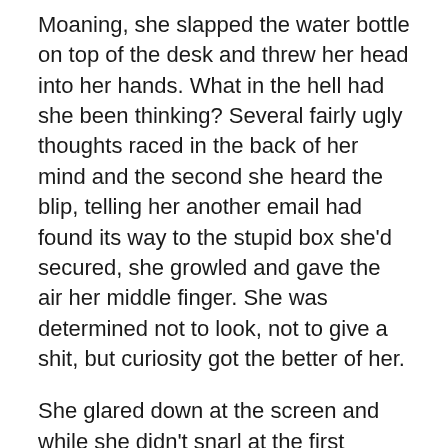Moaning, she slapped the water bottle on top of the desk and threw her head into her hands. What in the hell had she been thinking? Several fairly ugly thoughts raced in the back of her mind and the second she heard the blip, telling her another email had found its way to the stupid box she'd secured, she growled and gave the air her middle finger. She was determined not to look, not to give a shit, but curiosity got the better of her.
She glared down at the screen and while she didn't snarl at the first words, she didn't jump up and down either. I'm a firm believer in the art of discipline, not the act. Men and women walk a fine line between abiding by the rules and thwarting them. "Really?" So the guy was articulate. Okay. Not too bad. Victoria sat down in her seat. What I see as punishment others take as something else entirely. Becoming a disciplinarian means listening to the needs as